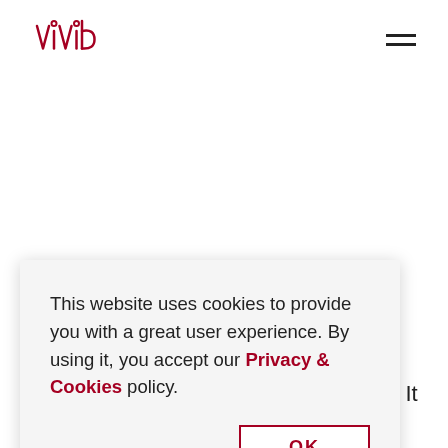[Figure (logo): Vivid company logo in red outline style lettering]
[Figure (other): Hamburger menu icon with two horizontal lines]
This website uses cookies to provide you with a great user experience. By using it, you accept our Privacy & Cookies policy.
OK
our most innovative direct mailers to date. It was